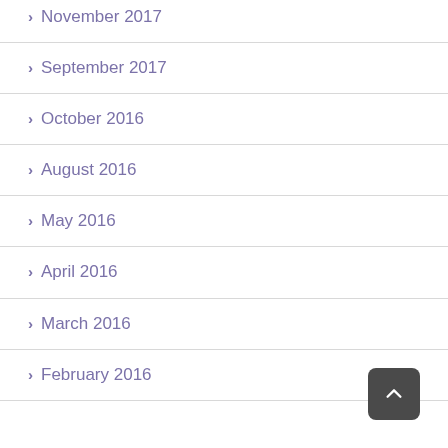November 2017
September 2017
October 2016
August 2016
May 2016
April 2016
March 2016
February 2016